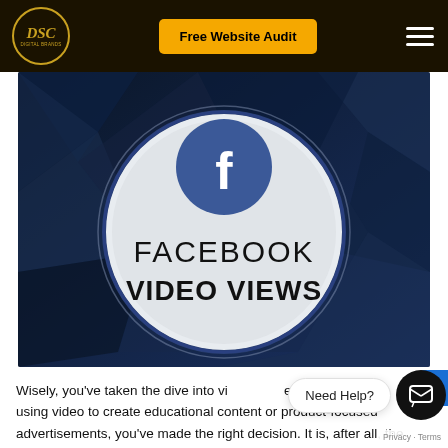[Figure (logo): DSC logo in gold circle on dark background]
Free Website Audit
[Figure (illustration): Facebook Video Views hero image: dark blue geometric background with a large white circle containing a Facebook 'f' icon in dark blue circle, text 'FACEBOOK VIDEO VIEWS']
Wisely, you've taken the dive into vi... using video to create educational content or product-focused advertisements, you've made the right decision. It is, after all, the